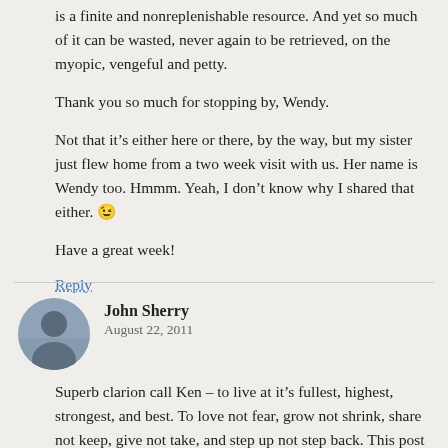is a finite and nonreplenishable resource. And yet so much of it can be wasted, never again to be retrieved, on the myopic, vengeful and petty.
Thank you so much for stopping by, Wendy.
Not that it's either here or there, by the way, but my sister just flew home from a two week visit with us. Her name is Wendy too. Hmmm. Yeah, I don't know why I shared that either. 😉
Have a great week!
Reply
John Sherry
August 22, 2011
Superb clarion call Ken – to live at it's fullest, highest, strongest, and best. To love not fear, grow not shrink, share not keep, give not take, and step up not step back. This post is a foundation for our futures and is a triumph, thank you Sir!